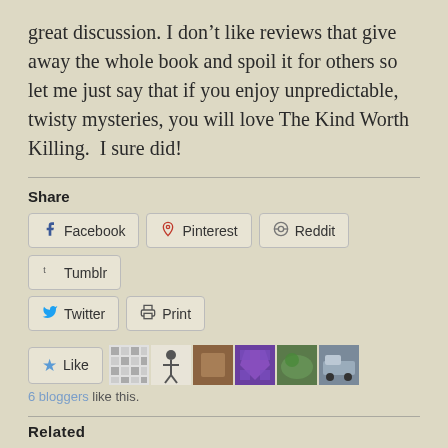great discussion. I don't like reviews that give away the whole book and spoil it for others so let me just say that if you enjoy unpredictable, twisty mysteries, you will love The Kind Worth Killing.  I sure did!
Share
Facebook
Pinterest
Reddit
Tumblr
Twitter
Print
6 bloggers like this.
Related
New Mysteries!
June 23, 2022
Answer in the Negative
March 14, 2020